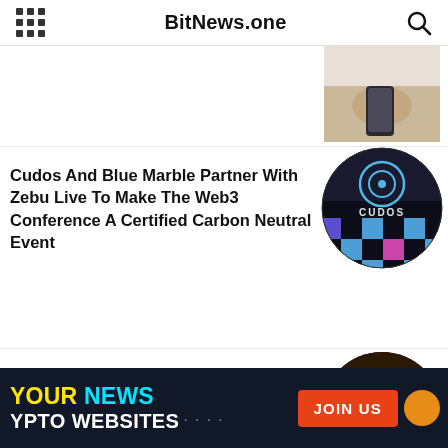BitNews.one
[Figure (photo): Partial circular thumbnail of a person's hands holding a phone, cropped at top]
Cudos And Blue Marble Partner With Zebu Live To Make The Web3 Conference A Certified Carbon Neutral Event
[Figure (logo): Circular image with CUDOS logo — dark background, blue circle/target icon, blue-and-black checkerboard with pink accents]
CME Group Announces Launch of Euro-denominated Bitcoin and Ether Futures
[Figure (photo): Circular thumbnail of gold cryptocurrency coins (Bitcoin, Ethereum)]
YOUR NEWS CRYPTO WEBSITES JOIN US